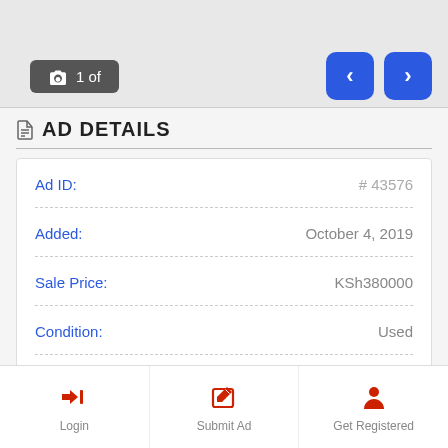[Figure (screenshot): Top image strip with camera badge showing '1 of' and navigation arrows (< and >) on blue rounded buttons]
AD DETAILS
| Field | Value |
| --- | --- |
| Ad ID: | # 43576 |
| Added: | October 4, 2019 |
| Sale Price: | KSh380000 |
| Condition: | Used |
| Location: | Kenya |
| State: | Nairobi County |
Login | Submit Ad | Get Registered